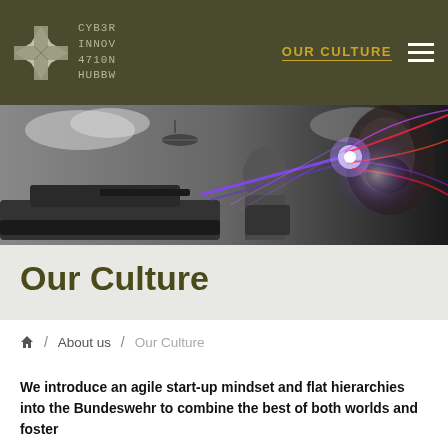CYB3R INNOV 4710N HUBBW | OUR CULTURE
[Figure (screenshot): Hero banner image showing a military scene with a soldier on a vehicle, a tank, helicopters in a cloudy sky on the left (greyscale), and on the right a face of a bearded man overlaid with colorful digital laser/light effects in purple, red, and white]
Our Culture
🏠 / About us / Our Culture
We introduce an agile start-up mindset and flat hierarchies into the Bundeswehr to combine the best of both worlds and foster